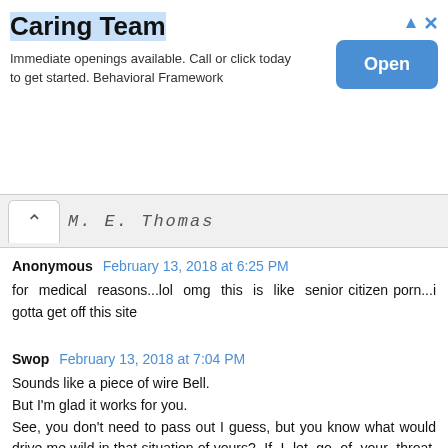[Figure (other): Advertisement banner for Caring Team with Open button]
M. E. Thomas
Anonymous February 13, 2018 at 6:25 PM
for medical reasons...lol omg this is like senior citizen porn...i gotta get off this site
Swop February 13, 2018 at 7:04 PM
Sounds like a piece of wire Bell.
But I'm glad it works for you.
See, you don't need to pass out I guess, but you know what would drive me wild in that situation of yours? If I let go of your throat as you were bordering...as he did...but you grabbed my hand and squeezed it down tighter.
Please don't take my use of personal references as any kind of come on or flirtation. I've seen